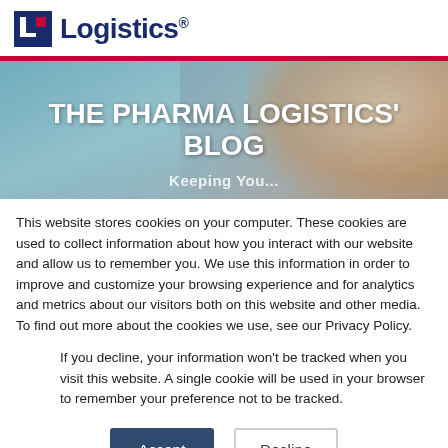[Figure (logo): Pharma Logistics logo with blue block icon and 'Logistics' text in dark navy blue]
[Figure (photo): Banner image with 'THE PHARMA LOGISTICS' BLOG' title overlaid on a photo of a smiling woman with curly hair and teal/blue background. Subtitle text 'Keeping You...' partially visible at bottom.]
This website stores cookies on your computer. These cookies are used to collect information about how you interact with our website and allow us to remember you. We use this information in order to improve and customize your browsing experience and for analytics and metrics about our visitors both on this website and other media. To find out more about the cookies we use, see our Privacy Policy.
If you decline, your information won't be tracked when you visit this website. A single cookie will be used in your browser to remember your preference not to be tracked.
Accept   Decline